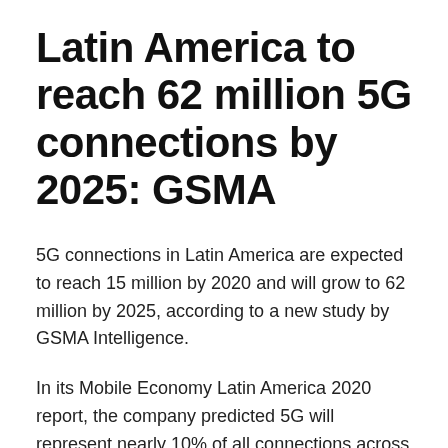Latin America to reach 62 million 5G connections by 2025: GSMA
5G connections in Latin America are expected to reach 15 million by 2020 and will grow to 62 million by 2025, according to a new study by GSMA Intelligence.
In its Mobile Economy Latin America 2020 report, the company predicted 5G will represent nearly 10% of all connections across the region within the next four years, while (G technology